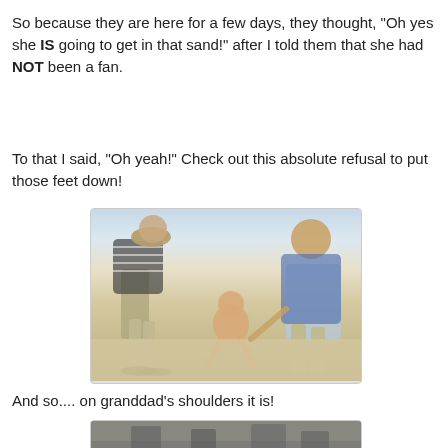So because they are here for a few days, they thought, "Oh yes she IS going to get in that sand!" after I told them that she had NOT been a fan.
To that I said, "Oh yeah!" Check out this absolute refusal to put those feet down!
[Figure (photo): Two adults bending over a small baby/toddler at the beach, trying to get the child to stand on the sand. The baby appears to be lifting its feet to avoid touching the sand. Sandy beach setting.]
And so.... on granddad's shoulders it is!
[Figure (photo): Partial view of another beach photo, partially cut off at bottom of page.]